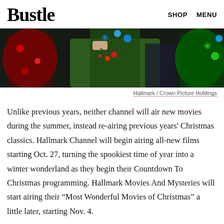Bustle   SHOP   MENU
[Figure (photo): A person holding colorful Christmas lights near decorated Christmas trees with red and green ornaments and lights]
Hallmark / Crown Picture Holdings
Unlike previous years, neither channel will air new movies during the summer, instead re-airing previous years' Christmas classics. Hallmark Channel will begin airing all-new films starting Oct. 27, turning the spookiest time of year into a winter wonderland as they begin their Countdown To Christmas programming. Hallmark Movies And Mysteries will start airing their “Most Wonderful Movies of Christmas” a little later, starting Nov. 4.